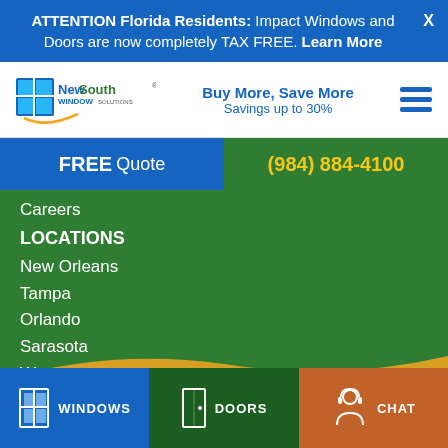ATTENTION Florida Residents: Impact Windows and Doors are now completely TAX FREE. Learn More
[Figure (logo): NewSouth Window Solutions logo with blue/gold window pane graphic and orange swoosh]
Buy More, Save More
Savings up to 30%
FREE Quote
(984) 884-4100
Careers
LOCATIONS
New Orleans
Tampa
Orlando
Sarasota
West Palm Beach
Ft. Lauderdale
WINDOWS
DOORS
CHAT